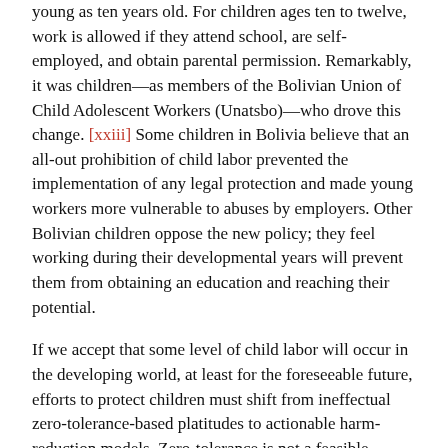young as ten years old. For children ages ten to twelve, work is allowed if they attend school, are self-employed, and obtain parental permission. Remarkably, it was children—as members of the Bolivian Union of Child Adolescent Workers (Unatsbo)—who drove this change. [xxiii] Some children in Bolivia believe that an all-out prohibition of child labor prevented the implementation of any legal protection and made young workers more vulnerable to abuses by employers. Other Bolivian children oppose the new policy; they feel working during their developmental years will prevent them from obtaining an education and reaching their potential.
If we accept that some level of child labor will occur in the developing world, at least for the foreseeable future, efforts to protect children must shift from ineffectual zero-tolerance-based platitudes to actionable harm-reduction models. Zero-tolerance is not a feasible strategy. So what can companies like Sports Philosophy do? While elimination of child labor ought to be the ultimate goal